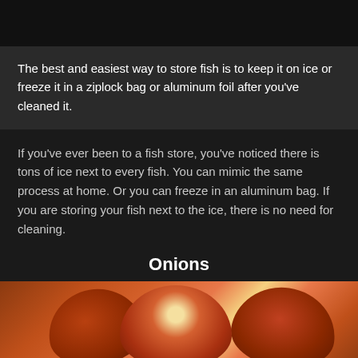The best and easiest way to store fish is to keep it on ice or freeze it in a ziplock bag or aluminum foil after you've cleaned it.
If you've ever been to a fish store, you've noticed there is tons of ice next to every fish. You can mimic the same process at home. Or you can freeze in an aluminum bag. If you are storing your fish next to the ice, there is no need for cleaning.
Onions
[Figure (photo): Close-up photo of red/brown onions with a warm orange-brown background, showing the papery skin texture and a bright highlight reflection.]